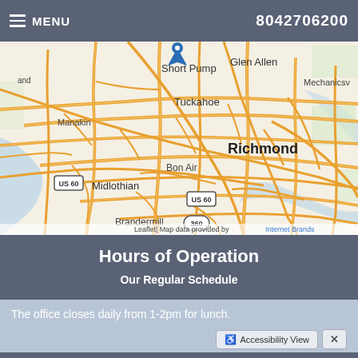MENU   8042706200
[Figure (map): Street map of Richmond, VA area showing Short Pump, Glen Allen, Manakin, Tuckahoe, Mechanicsville, Richmond, Bon Air, Midlothian, Brandermill, US 60, Route 360, with a blue location pin marker near Short Pump. Attribution: Leaflet | Map data provided by Internet Brands]
Hours of Operation
Our Regular Schedule
The office closes daily from 1-2pm for lunch.